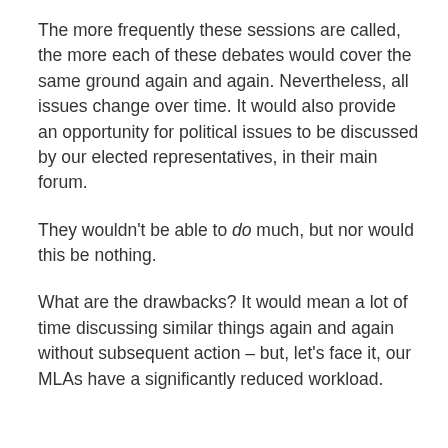The more frequently these sessions are called, the more each of these debates would cover the same ground again and again. Nevertheless, all issues change over time. It would also provide an opportunity for political issues to be discussed by our elected representatives, in their main forum.
They wouldn't be able to do much, but nor would this be nothing.
What are the drawbacks? It would mean a lot of time discussing similar things again and again without subsequent action – but, let's face it, our MLAs have a significantly reduced workload.